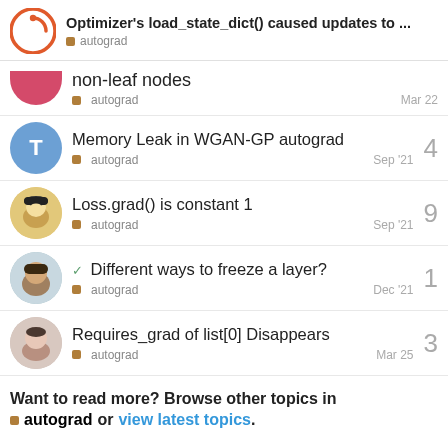Optimizer's load_state_dict() caused updates to ... autograd
non-leaf nodes autograd Mar 22
Memory Leak in WGAN-GP autograd autograd Sep '21 4
Loss.grad() is constant 1 autograd Sep '21 9
✓ Different ways to freeze a layer? autograd Dec '21 1
Requires_grad of list[0] Disappears autograd Mar 25 3
Want to read more? Browse other topics in autograd or view latest topics.